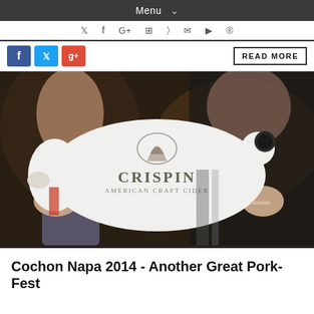Menu
𝕿 f G+ ◙ )) ✉ ▶ ⊕
[Figure (screenshot): Action bar with social share buttons (Facebook, Twitter, Google+) on left and READ MORE button on right]
[Figure (photo): Person holding a white pig-shaped board with the Crispin American Craft Cider logo and text, at a social event with people in the background]
Cochon Napa 2014 - Another Great Pork-Fest